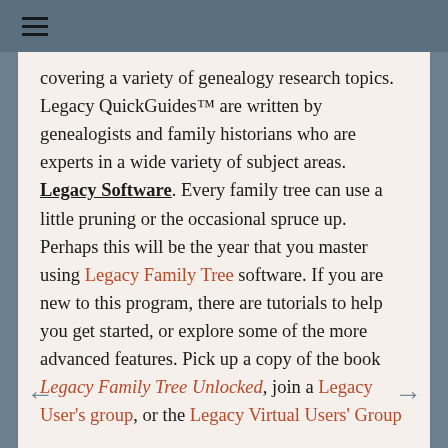☰
covering a variety of genealogy research topics. Legacy QuickGuides™ are written by genealogists and family historians who are experts in a wide variety of subject areas.
Legacy Software. Every family tree can use a little pruning or the occasional spruce up. Perhaps this will be the year that you master using Legacy Family Tree software. If you are new to this program, there are tutorials to help you get started, or explore some of the more advanced features. Pick up a copy of the book Legacy Family Tree Unlocked, join a Legacy User's group, or the Legacy Virtual Users' Group